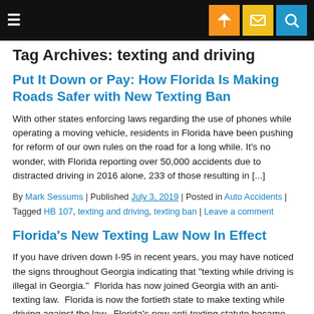Navigation bar with hamburger menu, location icon (orange), mail icon (yellow), and search icon (blue)
Tag Archives: texting and driving
Put It Down or Pay: How Florida Is Making Roads Safer with New Texting Ban
With other states enforcing laws regarding the use of phones while operating a moving vehicle, residents in Florida have been pushing for reform of our own rules on the road for a long while. It's no wonder, with Florida reporting over 50,000 accidents due to distracted driving in 2016 alone, 233 of those resulting in [...]
By Mark Sessums | Published July 3, 2019 | Posted in Auto Accidents | Tagged HB 107, texting and driving, texting ban | Leave a comment
Florida's New Texting Law Now In Effect
If you have driven down I-95 in recent years, you may have noticed the signs throughout Georgia indicating that "texting while driving is illegal in Georgia."  Florida has now joined Georgia with an anti-texting law.  Florida is now the fortieth state to make texting while driving against the law.  Florida's new anti-texting statute became law [...]